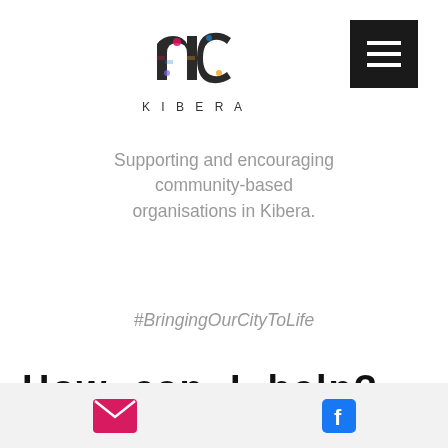[Figure (logo): NC Kibera logo — stylized 'nc' letters in colorful design above the word KIBERA in spaced capitals]
Supporting and encouraging community-based organisations in Kibera.
#BringingOurCityToLife
How can I help?
Give financially
You can support the work of NC Kibera by giving financially towards the charity and its costs. One-off donations are very much appreciated, but regular giving
Email and Facebook icons